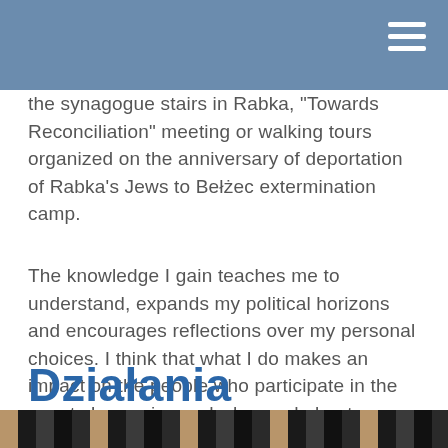the synagogue stairs in Rabka, "Towards Reconciliation" meeting or walking tours organized on the anniversary of deportation of Rabka's Jews to Bełżec extermination camp.
The knowledge I gain teaches me to understand, expands my political horizons and encourages reflections over my personal choices. I think that what I do makes an impact on the people who participate in the events I organize and who read about my research.
Działania
[Figure (photo): Bottom strip showing a partial photo with dark and warm-toned elements, partially cut off at the bottom of the page.]